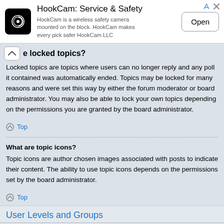[Figure (infographic): HookCam advertisement banner with logo, title 'HookCam: Service & Safety', description text, and Open button]
e locked topics?
Locked topics are topics where users can no longer reply and any poll it contained was automatically ended. Topics may be locked for many reasons and were set this way by either the forum moderator or board administrator. You may also be able to lock your own topics depending on the permissions you are granted by the board administrator.
Top
What are topic icons?
Topic icons are author chosen images associated with posts to indicate their content. The ability to use topic icons depends on the permissions set by the board administrator.
Top
User Levels and Groups
What are Administrators?
Administrators are members assigned with the highest level of control over the